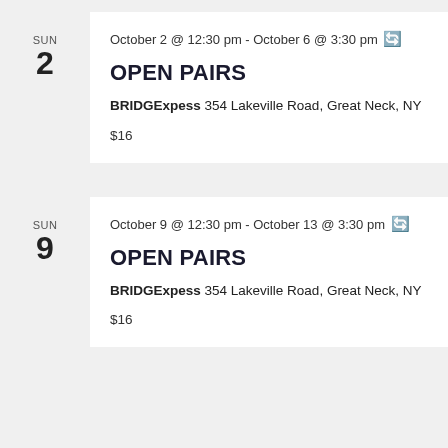SUN 2
October 2 @ 12:30 pm - October 6 @ 3:30 pm
OPEN PAIRS
BRIDGExpess 354 Lakeville Road, Great Neck, NY
$16
SUN 9
October 9 @ 12:30 pm - October 13 @ 3:30 pm
OPEN PAIRS
BRIDGExpess 354 Lakeville Road, Great Neck, NY
$16